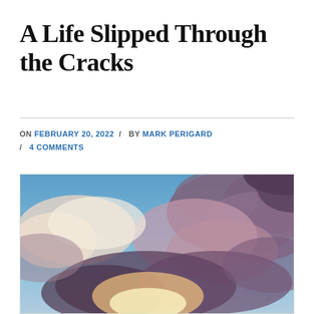A Life Slipped Through the Cracks
ON FEBRUARY 20, 2022 / BY MARK PERIGARD / 4 COMMENTS
[Figure (photo): Dramatic sky photo showing blue sky with large, billowing clouds in shades of white, pink, and dark purple/grey, with bright sunlight breaking through from below the clouds.]